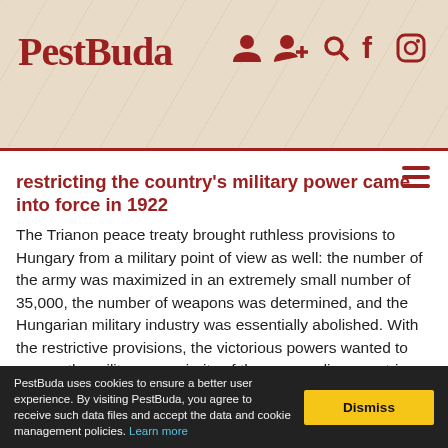PestBuda
restricting the country's military power came into force in 1922
The Trianon peace treaty brought ruthless provisions to Hungary from a military point of view as well: the number of the army was maximized in an extremely small number of 35,000, the number of weapons was determined, and the Hungarian military industry was essentially abolished. With the restrictive provisions, the victorious powers wanted to ensure the military superiority of the surrounding countries, and on the other hand, they wanted to ensure that
PestBuda uses cookies to ensure a better user experience. By visiting PestBuda, you agree to receive such data files and accept the data and cookie management policies. Learn more